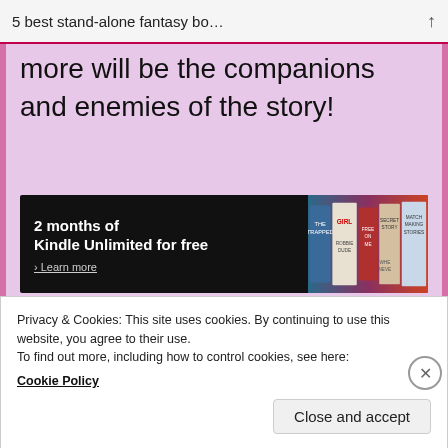5 best stand-alone fantasy bo…
more will be the companions and enemies of the story!
[Figure (other): Amazon Kindle Unlimited promotional banner: '2 months of Kindle Unlimited for free' with book covers on the right side and a 'Learn more' link.]
[Figure (other): ADD TO CART NOW button with a colorful gradient background (blue to pink to orange).]
Privacy & Cookies: This site uses cookies. By continuing to use this website, you agree to their use.
To find out more, including how to control cookies, see here:
Cookie Policy
Close and accept